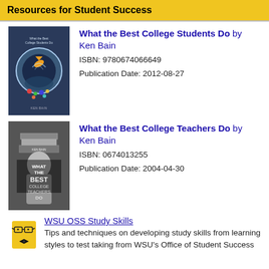Resources for Student Success
[Figure (illustration): Book cover: What the Best College Students Do by Ken Bain - shows a fish leaping from water with colorful background]
What the Best College Students Do by Ken Bain
ISBN: 9780674066649
Publication Date: 2012-08-27
[Figure (illustration): Book cover: What the Best College Teachers Do by Ken Bain - dark cover with stacked books and text]
What the Best College Teachers Do by Ken Bain
ISBN: 0674013255
Publication Date: 2004-04-30
[Figure (illustration): WSU OSS mascot icon - yellow figure with glasses and bow tie]
WSU OSS Study Skills
Tips and techniques on developing study skills from learning styles to test taking from WSU's Office of Student Success